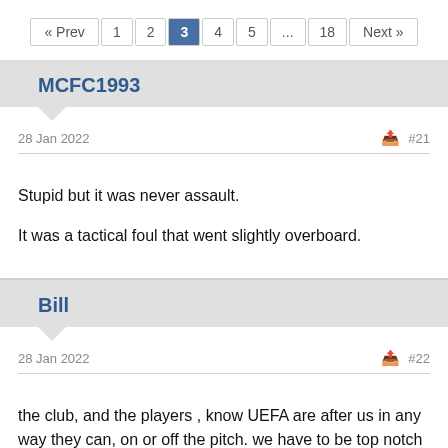« Prev  1  2  3  4  5  ...  18  Next »
MCFC1993
28 Jan 2022  #21
Stupid but it was never assault.

It was a tactical foul that went slightly overboard.
Bill
28 Jan 2022  #22
the club, and the players , know UEFA are after us in any way they can, on or off the pitch. we have to be top notch at all times.
we can not spend
we can not go in hard